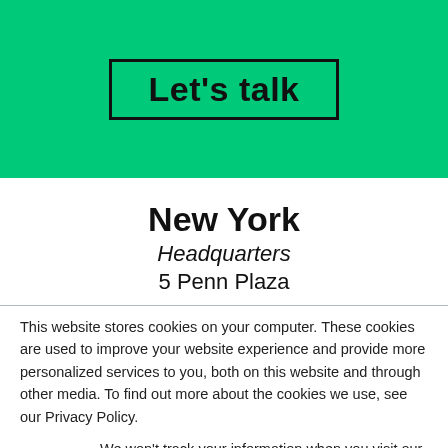Let's talk
New York
Headquarters
5 Penn Plaza
This website stores cookies on your computer. These cookies are used to improve your website experience and provide more personalized services to you, both on this website and through other media. To find out more about the cookies we use, see our Privacy Policy.
We won't track your information when you visit our site. But in order to comply with your preferences, we'll have to use just one tiny cookie so that you're not asked to make this choice again.